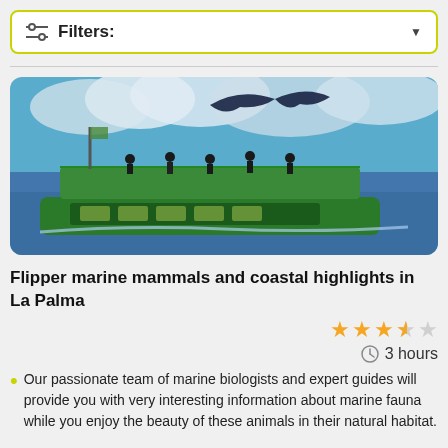Filters:
[Figure (photo): A green double-decker boat tour vessel on blue ocean water with a seabird flying overhead under a partly cloudy sky]
Flipper marine mammals and coastal highlights in La Palma
3.5 stars rating, 3 hours duration
Our passionate team of marine biologists and expert guides will provide you with very interesting information about marine fauna while you enjoy the beauty of these animals in their natural habitat.